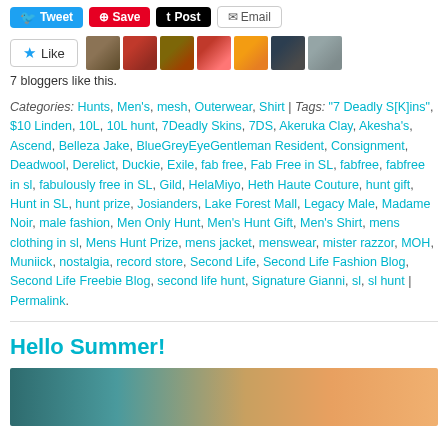[Figure (screenshot): Social share buttons: Tweet (blue), Save (red Pinterest), Post (black Tumblr), Email (outlined)]
[Figure (photo): Like button with star icon followed by 7 small avatar thumbnails of bloggers]
7 bloggers like this.
Categories: Hunts, Men's, mesh, Outerwear, Shirt | Tags: "7 Deadly S[K]ins", $10 Linden, 10L, 10L hunt, 7Deadly Skins, 7DS, Akeruka Clay, Akesha's, Ascend, Belleza Jake, BlueGreyEyeGentleman Resident, Consignment, Deadwool, Derelict, Duckie, Exile, fab free, Fab Free in SL, fabfree, fabfree in sl, fabulously free in SL, Gild, HelaMiyo, Heth Haute Couture, hunt gift, Hunt in SL, hunt prize, Josianders, Lake Forest Mall, Legacy Male, Madame Noir, male fashion, Men Only Hunt, Men's Hunt Gift, Men's Shirt, mens clothing in sl, Mens Hunt Prize, mens jacket, menswear, mister razzor, MOH, Muniick, nostalgia, record store, Second Life, Second Life Fashion Blog, Second Life Freebie Blog, second life hunt, Signature Gianni, sl, sl hunt | Permalink.
Hello Summer!
[Figure (photo): Partial bottom image showing teal/green and orange/peach colors, appears to be a fashion blog post image]